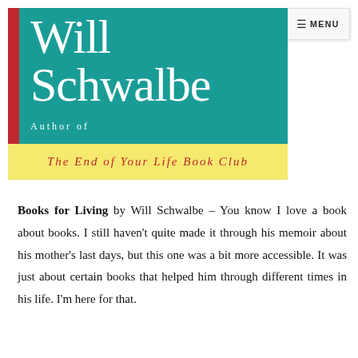[Figure (illustration): Book cover and author branding for Will Schwalbe. Teal background with white serif text 'Will Schwalbe', red vertical bar on left, text 'Author of' in white, yellow band with red italic text 'The End of Your Life Book Club'. Menu button top right.]
Books for Living by Will Schwalbe – You know I love a book about books. I still haven't quite made it through his memoir about his mother's last days, but this one was a bit more accessible. It was just about certain books that helped him through different times in his life. I'm here for that.